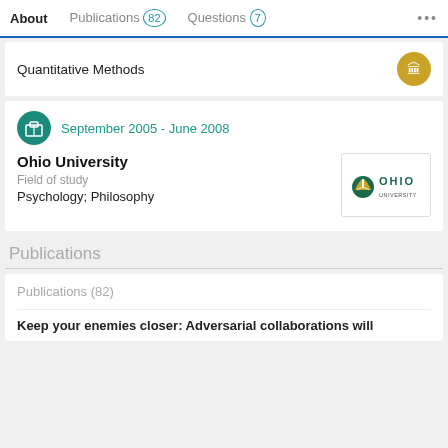About  Publications 82  Questions 7  ...
Quantitative Methods
September 2005 - June 2008
Ohio University
Field of study
Psychology; Philosophy
Publications
Publications (82)
Keep your enemies closer: Adversarial collaborations will